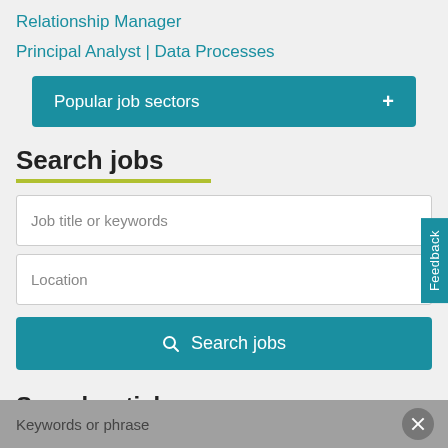Relationship Manager
Principal Analyst | Data Processes
Popular job sectors
Search jobs
Job title or keywords
Location
Search jobs
Search articles
Keywords or phrase
Feedback